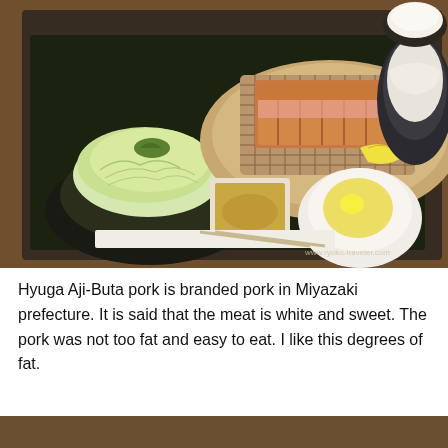[Figure (photo): A Japanese tonkatsu meal set on a dark tray, featuring sliced breaded pork cutlet on a wire rack with a lemon wedge, shredded cabbage salad, a small square dish with brown dipping sauce, a round white bowl with yellow sauce, a dark bowl with white food (likely onion), chopsticks, and a napkin. Watermark reads www.ryoko-traveler.com]
Hyuga Aji-Buta pork is branded pork in Miyazaki prefecture. It is said that the meat is white and sweet. The pork was not too fat and easy to eat. I like this degrees of fat.
[Figure (photo): Partial view of another food photo visible at the bottom of the page.]